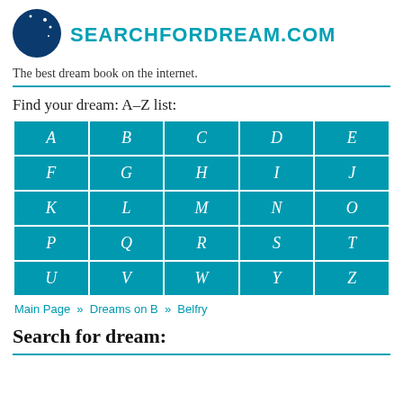[Figure (logo): Circular logo with dark blue background, yellow crescent moon and white stars]
SEARCHFORDREAM.COM
The best dream book on the internet.
Find your dream: A–Z list:
| A | B | C | D | E |
| F | G | H | I | J |
| K | L | M | N | O |
| P | Q | R | S | T |
| U | V | W | Y | Z |
Main Page » Dreams on B » Belfry
Search for dream: